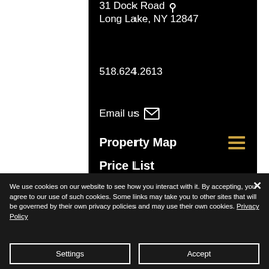31 Dock Road
Long Lake, NY 12847
518.624.2613
Email us
Property Map
Price List
We use cookies on our website to see how you interact with it. By accepting, you agree to our use of such cookies. Some links may take you to other sites that will be governed by their own privacy policies and may use their own cookies. Privacy Policy
Settings
Accept